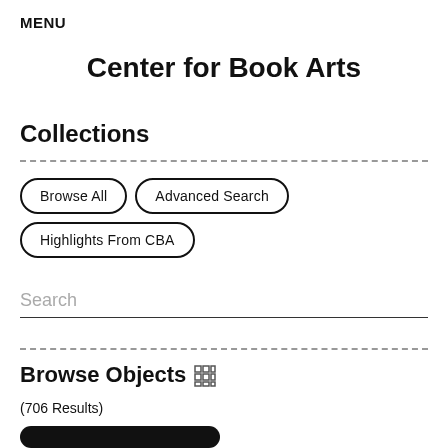MENU
Center for Book Arts
Collections
Browse All
Advanced Search
Highlights From CBA
Search
Browse Objects
(706 Results)